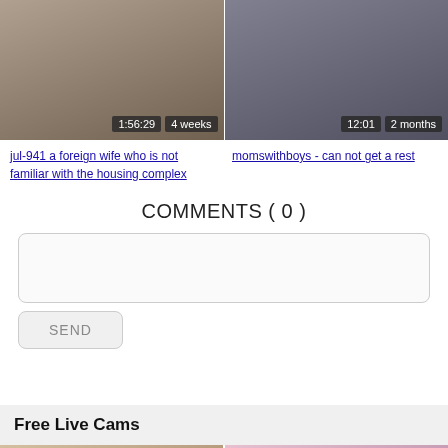[Figure (photo): Two video thumbnails side by side. Left: 1:56:29 duration, 4 weeks ago. Right: 12:01 duration, 2 months ago.]
jul-941 a foreign wife who is not familiar with the housing complex
momswithboys - can not get a rest
COMMENTS ( 0 )
SEND
Free Live Cams
[Figure (photo): Two live cam thumbnails side by side at the bottom of the page.]